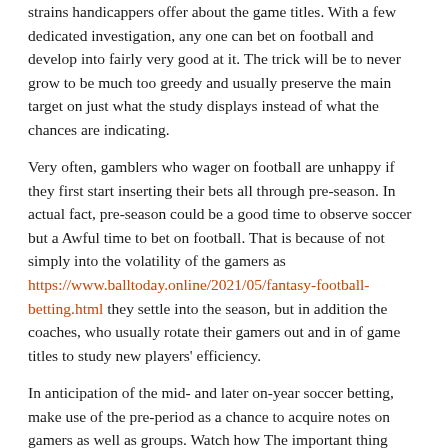strains handicappers offer about the game titles. With a few dedicated investigation, any one can bet on football and develop into fairly very good at it. The trick will be to never grow to be much too greedy and usually preserve the main target on just what the study displays instead of what the chances are indicating.
Very often, gamblers who wager on football are unhappy if they first start inserting their bets all through pre-season. In actual fact, pre-season could be a good time to observe soccer but a Awful time to bet on football. That is because of not simply into the volatility of the gamers as https://www.balltoday.online/2021/05/fantasy-football-betting.html they settle into the season, but in addition the coaches, who usually rotate their gamers out and in of game titles to study new players' efficiency.
In anticipation of the mid- and later on-year soccer betting, make use of the pre-period as a chance to acquire notes on gamers as well as groups. Watch how The important thing players are Doing work with out their starters beside them. This early analysis will flesh out your understanding of the teams' normal seasonal functionality, https://www.all-bet.club/2021/05/football-way-to-place.html and provide